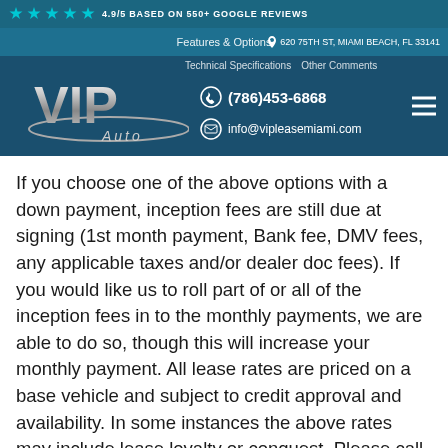4.9/5 BASED ON 550+ GOOGLE REVIEWS
Features & Options   620 75TH ST, MIAMI BEACH, FL 33141
[Figure (logo): VIP Auto logo on dark blue background with phone (786)453-6868 and email info@vipleasemiami.com]
Technical Specifications   Other Comments
If you choose one of the above options with a down payment, inception fees are still due at signing (1st month payment, Bank fee, DMV fees, any applicable taxes and/or dealer doc fees). If you would like us to roll part of or all of the inception fees in to the monthly payments, we are able to do so, though this will increase your monthly payment. All lease rates are priced on a base vehicle and subject to credit approval and availability. In some instances the above rates may include lease loyalty or conquest. Please call us today and we will be happy to discuss this leasing option with you, in addition to any other vehicles you may be interested in. We deliver cars to every state in the US. We strive to